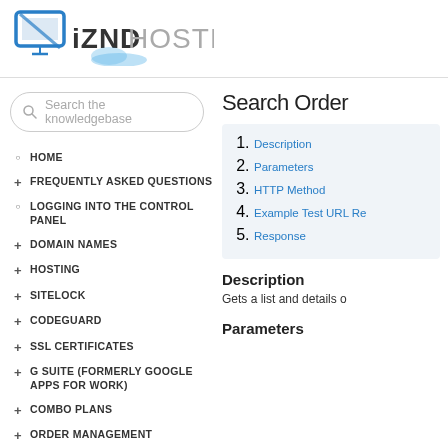[Figure (logo): iZND Hosting logo with computer monitor icon on left and text 'iZND HOSTING']
Search the knowledgebase
Search Order
HOME
FREQUENTLY ASKED QUESTIONS
LOGGING INTO THE CONTROL PANEL
DOMAIN NAMES
HOSTING
SITELOCK
CODEGUARD
SSL CERTIFICATES
G SUITE (FORMERLY GOOGLE APPS FOR WORK)
COMBO PLANS
ORDER MANAGEMENT
1. Description
2. Parameters
3. HTTP Method
4. Example Test URL Re
5. Response
Description
Gets a list and details o
Parameters